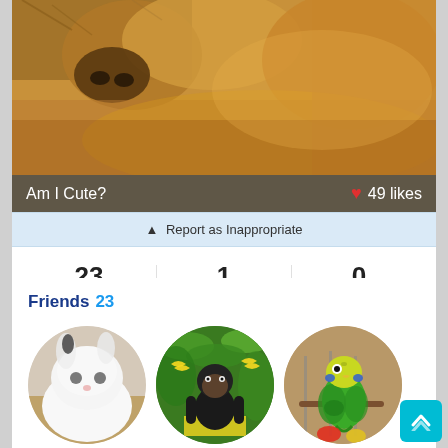[Figure (photo): Close-up photo of a fluffy golden/brown dog face looking at camera]
Am I Cute?  ❤ 49 likes
⚠ Report as Inappropriate
| 23 | 1 | 0 |
| Friends | Photos | Videos |
Friends 23
[Figure (photo): White fluffy rabbit/hamster in circular profile photo]
[Figure (photo): Chimpanzee with bananas in tropical setting in circular profile photo]
[Figure (photo): Green budgerigar parakeet in circular profile photo]